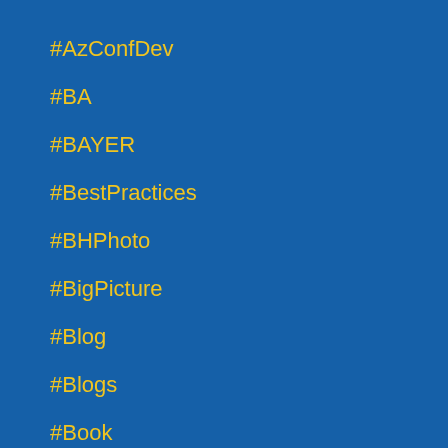#AzConfDev
#BA
#BAYER
#BestPractices
#BHPhoto
#BigPicture
#Blog
#Blogs
#Book